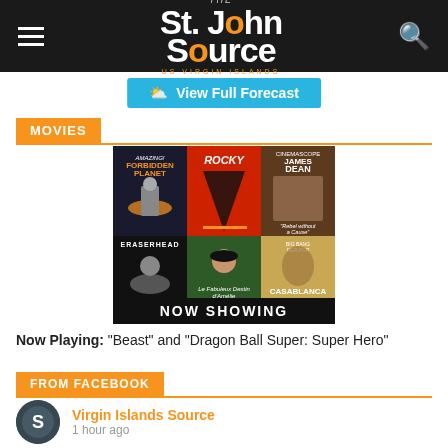The St. John Source — US Virgin Islands
View Full Forecast
MOVIES
[Figure (illustration): Collage of classic movie posters (Forbidden Planet, Rocky, James Dean/Rebel Without a Cause, Eraserhead, Amélie, Casablanca) with a black banner reading NOW SHOWING]
Now Playing: “Beast” and “Dragon Ball Super: Super Hero”
FROM FACEBOOK
Virgin Islands Source
1 hour ago